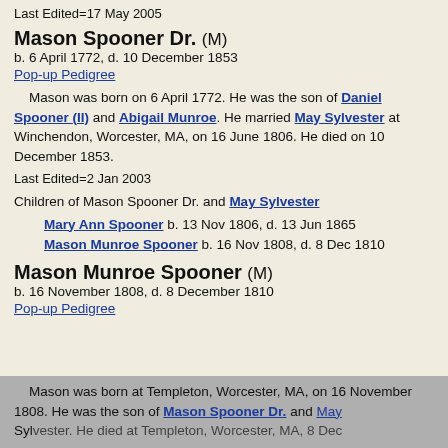Last Edited=17 May 2005
Mason Spooner Dr. (M)
b. 6 April 1772, d. 10 December 1853
Pop-up Pedigree
Mason was born on 6 April 1772. He was the son of Daniel Spooner (II) and Abigail Munroe. He married May Sylvester at Winchendon, Worcester, MA, on 16 June 1806. He died on 10 December 1853.
Last Edited=2 Jan 2003
Children of Mason Spooner Dr. and May Sylvester
Mary Ann Spooner b. 13 Nov 1806, d. 13 Jun 1865
Mason Munroe Spooner b. 16 Nov 1808, d. 8 Dec 1810
Mason Munroe Spooner (M)
b. 16 November 1808, d. 8 December 1810
Pop-up Pedigree
Mason was born at Templeton, Worcester, MA, on 16 November 1808. He was the son of Mason Spooner Dr. and May Sylvester. He died at Templeton, Worcester, MA, 8 Dec